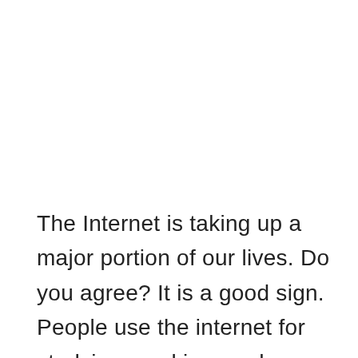The Internet is taking up a major portion of our lives. Do you agree? It is a good sign. People use the internet for studying, working, and entertainment. But, these are not the only applications. There are many e-commerce applications available. It includes booking a cab, buying groceries, and paying bills online. Internet applications in the 21st